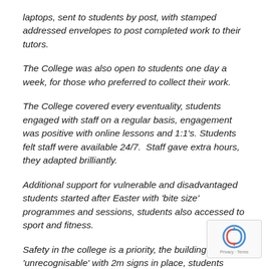laptops, sent to students by post, with stamped addressed envelopes to post completed work to their tutors.
The College was also open to students one day a week, for those who preferred to collect their work.
The College covered every eventuality, students engaged with staff on a regular basis, engagement was positive with online lessons and 1:1's. Students felt staff were available 24/7.  Staff gave extra hours, they adapted brilliantly.
Additional support for vulnerable and disadvantaged students started after Easter with 'bite size' programmes and sessions, students also accessed to sport and fitness.
Safety in the college is a priority, the building is now 'unrecognisable' with 2m signs in place, students have their